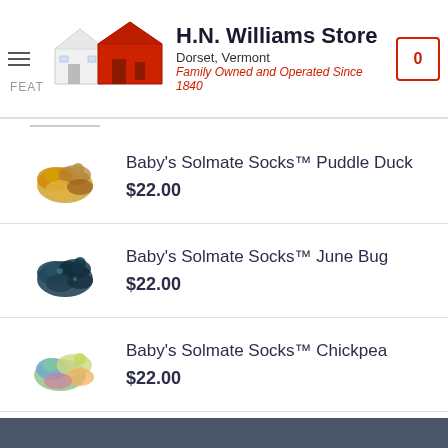H.N. Williams Store – Dorset, Vermont – Family Owned and Operated Since 1840
Baby's Solmate Socks™ Puddle Duck – $22.00
Baby's Solmate Socks™ June Bug – $22.00
Baby's Solmate Socks™ Chickpea – $22.00
Women's Solmate Socks™ Sunny – $22.00